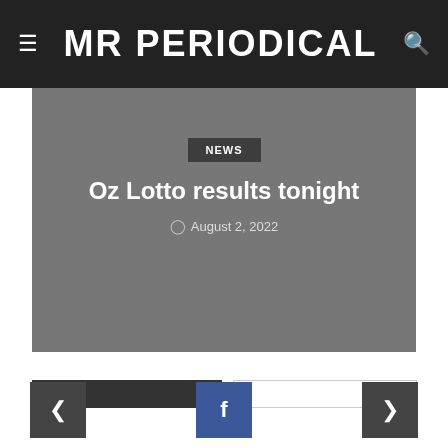MR PERIODICAL
[Figure (screenshot): Hero image block with gray background, NEWS badge, article title 'Oz Lotto results tonight', and date 'August 2, 2022']
Oz Lotto results tonight
August 2, 2022